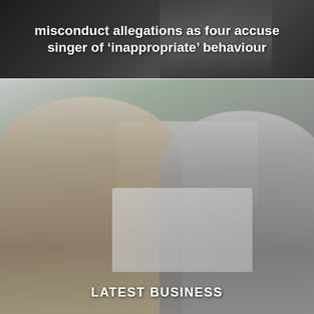[Figure (photo): Dark-toned news article thumbnail image with overlaid white bold headline text reading: misconduct allegations as four accuse singer of 'inappropriate' behaviour]
misconduct allegations as four accuse singer of 'inappropriate' behaviour
[Figure (photo): Office workplace photo showing two women looking at a laptop screen together. A woman with short hair in a striped shirt on the left, and a woman with glasses in a grey jacket on the right smiling. Background shows other office workers and a reception desk area.]
LATEST BUSINESS